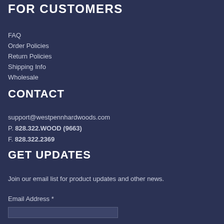FOR CUSTOMERS
FAQ
Order Policies
Return Policies
Shipping Info
Wholesale
CONTACT
support@westpennhardwoods.com
P. 828.322.WOOD (9663)
F. 828.322.2369
GET UPDATES
Join our email list for product updates and other news.
Email Address *